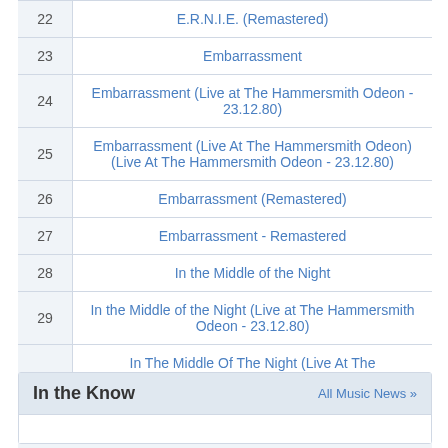| # | Title |
| --- | --- |
| 22 | E.R.N.I.E. (Remastered) |
| 23 | Embarrassment |
| 24 | Embarrassment (Live at The Hammersmith Odeon - 23.12.80) |
| 25 | Embarrassment (Live At The Hammersmith Odeon) (Live At The Hammersmith Odeon - 23.12.80) |
| 26 | Embarrassment (Remastered) |
| 27 | Embarrassment - Remastered |
| 28 | In the Middle of the Night |
| 29 | In the Middle of the Night (Live at The Hammersmith Odeon - 23.12.80) |
| 30 | In The Middle Of The Night (Live At The Hammersmith Odeon) (Live At The Hammersmith Odeon - 23.12.80) |
|  | More Albums |
embed </>
In the Know
All Music News »